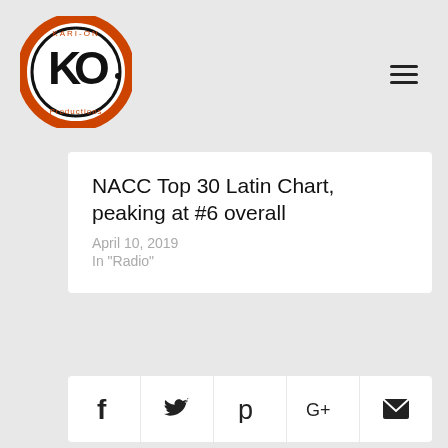[Figure (logo): Kari-On Productions circular logo with orange and black K/O design]
≡
NACC Top 30 Latin Chart, peaking at #6 overall
April 10, 2019
In "Radio"
[Figure (infographic): Social share icons row: Facebook, Twitter, Pinterest, Google+, Email]
Kari Gaffney
Since 1988 Kari-On Productions has helped artists get an even footing in the industry through jazz promotion in the genres of Jazz, World & Latin Jazz through Jazz Radio and Publicity. Why